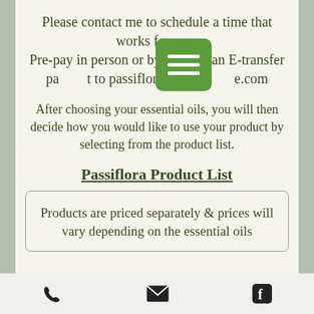Please contact me to schedule a time that works for you. Pre-pay in person or by sending an E-transfer payment to passifloraaromatics.com
After choosing your essential oils, you will then decide how you would like to use your product by selecting from the product list.
Passiflora Product List
Products are priced separately & prices will vary depending on the essential oils
[phone] [email] [facebook]